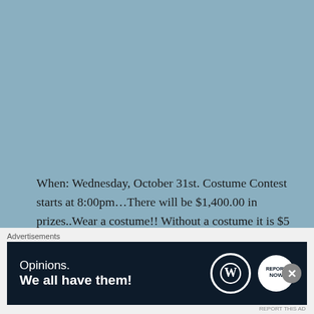When: Wednesday, October 31st. Costume Contest starts at 8:00pm...There will be $1,400.00 in prizes..Wear a costume!! Without a costume it is $5 to get in.
Please also see Halloween Part 1 Children and Family Deals & Halloween Part 2 Costume Coupons & Deals for more Halloween deals for this area!!! Please also find first prize
[Figure (other): Advertisement banner: 'Opinions. We all have them!' with WordPress and another logo on dark navy background]